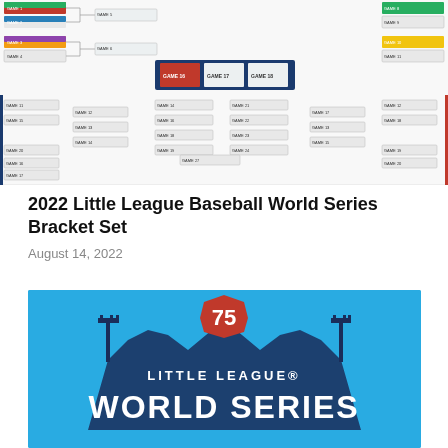[Figure (other): 2022 Little League Baseball World Series tournament bracket chart showing game matchups and results in a bracket format with colored team name blocks]
2022 Little League Baseball World Series Bracket Set
August 14, 2022
[Figure (logo): Little League World Series 75th anniversary logo on a sky blue background, featuring a dark navy stadium silhouette with a red keystone shield showing '75', and white text reading 'LITTLE LEAGUE® WORLD SERIES']